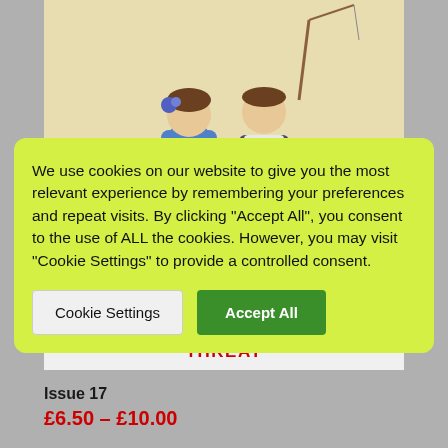[Figure (illustration): Magazine cover showing two children (a girl in a blue dress and a boy in shorts holding a fishing rod) illustrated in a vintage style, with text 'WALTON'S COTTAGE UNDER THREAT' in red at the bottom]
We use cookies on our website to give you the most relevant experience by remembering your preferences and repeat visits. By clicking "Accept All", you consent to the use of ALL the cookies. However, you may visit "Cookie Settings" to provide a controlled consent.
Cookie Settings | Accept All
Issue 17
£6.50 – £10.00